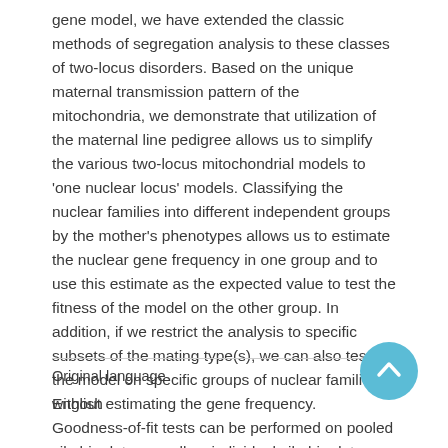gene model, we have extended the classic methods of segregation analysis to these classes of two-locus disorders. Based on the unique maternal transmission pattern of the mitochondria, we demonstrate that utilization of the maternal line pedigree allows us to simplify the various two-locus mitochondrial models to 'one nuclear locus' models. Classifying the nuclear families into different independent groups by the mother's phenotypes allows us to estimate the nuclear gene frequency in one group and to use this estimate as the expected value to test the fitness of the model on the other group. In addition, if we restrict the analysis to specific subsets of the mating type(s), we can also test the model on specific groups of nuclear families without estimating the gene frequency. Goodness-of-fit tests can be performed on pooled sibship data as well as individual sibship data. These methods of analysis should assume increasing importance as more disorders with features of mitochondrial inheritance are identified. © 1992 Wiley-Liss, Inc.
Original language
English